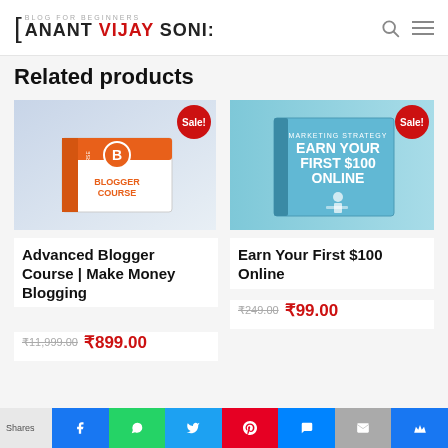ANANT VIJAY SONI - Blog for Beginners
Related products
[Figure (photo): Product image of Advanced Blogger Course box with orange Blogger logo and text 'Make Money Blogging, Start Most Profitable Blog with Step by Step Video Tutorials'. Red Sale! badge in top right corner.]
[Figure (photo): Product image of 'Earn Your First $100 Online' book in light blue cover with person sitting at desk illustration. Red Sale! badge in top right corner.]
Advanced Blogger Course | Make Money Blogging
₹11,999.00  ₹899.00
Earn Your First $100 Online
₹249.00  ₹99.00
Shares — Facebook, WhatsApp, Twitter, Pinterest, Message, Mail, More